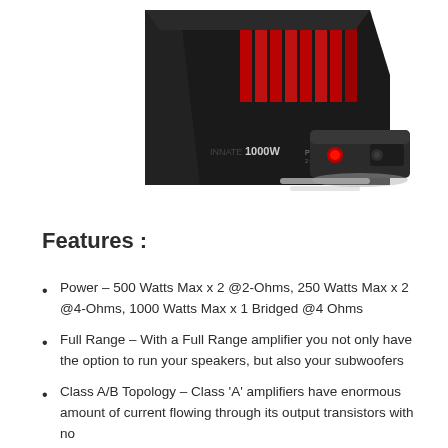[Figure (photo): Product photo of a black car amplifier with red illuminated heat fins labeled '1000W', shown from an angled top view with a smaller inset view of the amplifier's end panel with red LED indicator.]
Features :
Power – 500 Watts Max x 2 @2-Ohms, 250 Watts Max x 2 @4-Ohms, 1000 Watts Max x 1 Bridged @4 Ohms
Full Range – With a Full Range amplifier you not only have the option to run your speakers, but also your subwoofers
Class A/B Topology – Class 'A' amplifiers have enormous amount of current flowing through its output transistors with no